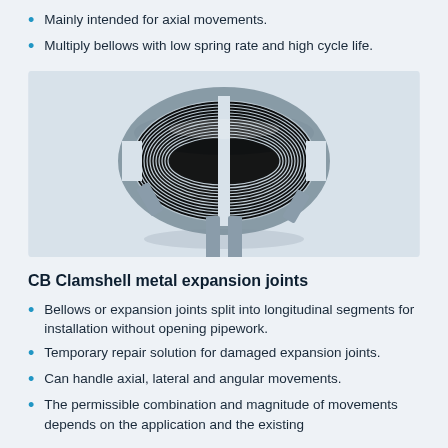Mainly intended for axial movements.
Multiply bellows with low spring rate and high cycle life.
[Figure (photo): Photo of a CB Clamshell metal expansion joint bellows — a corrugated metal ring split into longitudinal segments, showing the clam-shell design with visible ridged bellows and separation gaps.]
CB Clamshell metal expansion joints
Bellows or expansion joints split into longitudinal segments for installation without opening pipework.
Temporary repair solution for damaged expansion joints.
Can handle axial, lateral and angular movements.
The permissible combination and magnitude of movements depends on the application and the existing…